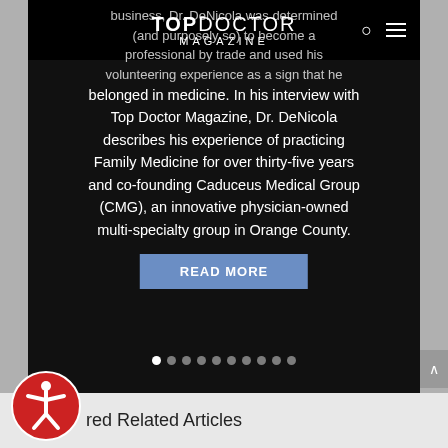[Figure (screenshot): Top Doctor Magazine website header with logo, search icon, and hamburger menu on black background]
business, Dr. DeNicola was determined (and purposely so) to become a professional by trade and used his volunteering experience as a sign that he belonged in medicine. In his interview with Top Doctor Magazine, Dr. DeNicola describes his experience of practicing Family Medicine for over thirty-five years and co-founding Caduceus Medical Group (CMG), an innovative physician-owned multi-specialty group in Orange County.
READ MORE
red Related Articles